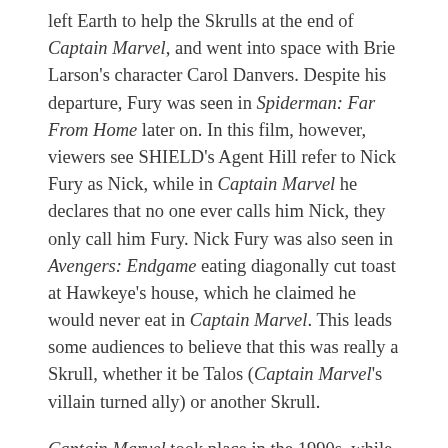left Earth to help the Skrulls at the end of Captain Marvel, and went into space with Brie Larson's character Carol Danvers. Despite his departure, Fury was seen in Spiderman: Far From Home later on. In this film, however, viewers see SHIELD's Agent Hill refer to Nick Fury as Nick, while in Captain Marvel he declares that no one ever calls him Nick, they only call him Fury. Nick Fury was also seen in Avengers: Endgame eating diagonally cut toast at Hawkeye's house, which he claimed he would never eat in Captain Marvel. This leads some audiences to believe that this was really a Skrull, whether it be Talos (Captain Marvel's villain turned ally) or another Skrull.
Captain Marvel took place in the 1990s, while Spiderman: Far From Home took